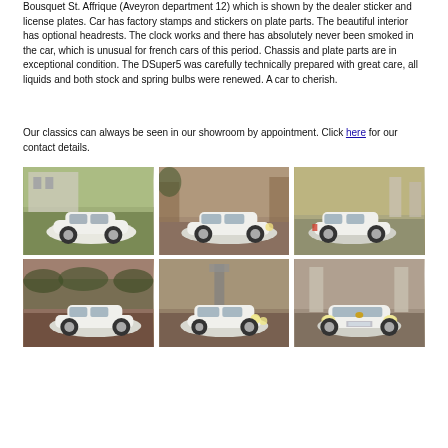Bousquet St. Affrique (Aveyron department 12) which is shown by the dealer sticker and license plates. Car has factory stamps and stickers on plate parts. The beautiful interior has optional headrests. The clock works and there has absolutely never been smoked in the car, which is unusual for french cars of this period. Chassis and plate parts are in exceptional condition. The DSuper5 was carefully technically prepared with great care, all liquids and both stock and spring bulbs were renewed. A car to cherish.
Our classics can always be seen in our showroom by appointment. Click here for our contact details.
[Figure (photo): White Citroën DS classic car, front 3/4 view, parked near autumn foliage and a building]
[Figure (photo): White Citroën DS classic car, side view, parked on gravel driveway outdoors]
[Figure (photo): White Citroën DS classic car, rear 3/4 view, parked on gravel near gate pillars]
[Figure (photo): White Citroën DS classic car, side view, parked near autumn hedges]
[Figure (photo): White Citroën DS classic car, angled front view showing headlights, on gravel]
[Figure (photo): White Citroën DS classic car, front view facing camera, on gravel driveway]